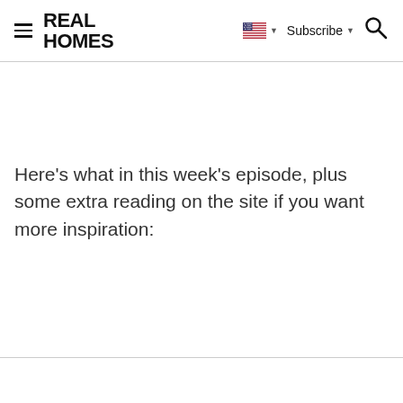REAL HOMES
Here’s what in this week’s episode, plus some extra reading on the site if you want more inspiration: